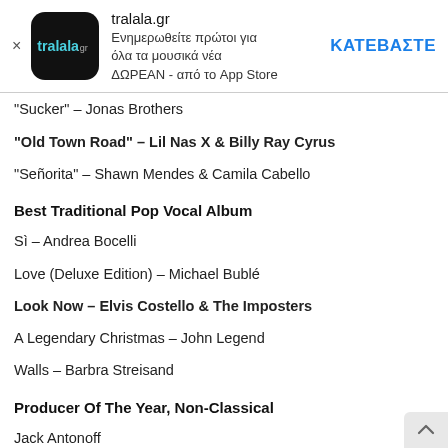tralala.gr — Ενημερωθείτε πρώτοι για όλα τα μουσικά νέα ΔΩΡΕΑΝ - από το App Store — ΚΑΤΕΒΑΣΤΕ
"Sucker" – Jonas Brothers
"Old Town Road" – Lil Nas X & Billy Ray Cyrus
"Señorita" – Shawn Mendes & Camila Cabello
Best Traditional Pop Vocal Album
Sì – Andrea Bocelli
Love (Deluxe Edition) – Michael Bublé
Look Now – Elvis Costello & The Imposters
A Legendary Christmas – John Legend
Walls – Barbra Streisand
Producer Of The Year, Non-Classical
Jack Antonoff
Dan Auerbach
John Hill